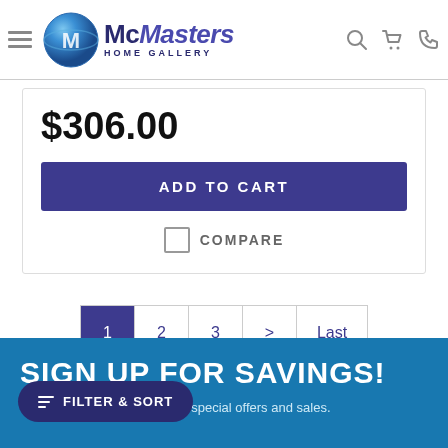[Figure (logo): McMasters Home Gallery logo with blue globe and stylized text]
$306.00
ADD TO CART
COMPARE
1  2  3  >  Last
SIGN UP FOR SAVINGS!
Be the first to learn about our special offers and sales.
FILTER & SORT